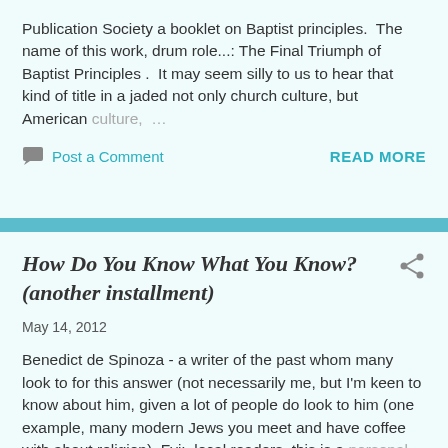Publication Society a booklet on Baptist principles.  The name of this work, drum role...: The Final Triumph of Baptist Principles .  It may seem silly to us to hear that kind of title in a jaded not only church culture, but American culture, ...
Post a Comment
READ MORE
How Do You Know What You Know? (another installment)
May 14, 2012
Benedict de Spinoza - a writer of the past whom many look to for this answer (not necessarily me, but I'm keen to know about him, given a lot of people do look to him (one example, many modern Jews you meet and have coffee with about religion). Fyi:  local readers, this is a personal ...